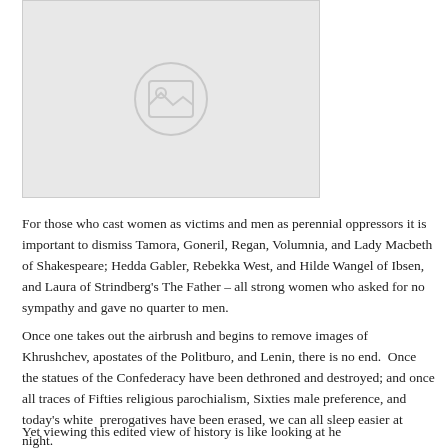[Figure (photo): Placeholder image with a broken/missing image icon, light gray background with rounded rectangle border]
For those who cast women as victims and men as perennial oppressors it is important to dismiss Tamora, Goneril, Regan, Volumnia, and Lady Macbeth of Shakespeare; Hedda Gabler, Rebekka West, and Hilde Wangel of Ibsen, and Laura of Strindberg's The Father – all strong women who asked for no sympathy and gave no quarter to men.
Once one takes out the airbrush and begins to remove images of Khrushchev, apostates of the Politburo, and Lenin, there is no end.  Once the statues of the Confederacy have been dethroned and destroyed; and once all traces of Fifties religious parochialism, Sixties male preference, and today's white  prerogatives have been erased, we can all sleep easier at night.
Yet viewing this edited view of history is like looking at he